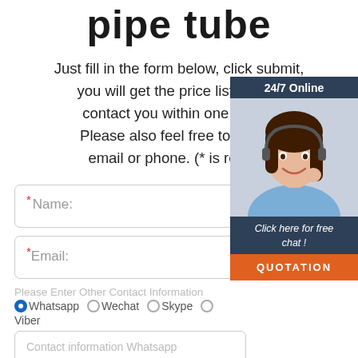pipe tube
Just fill in the form below, click submit, you will get the price list, and w contact you within one working day. Please also feel free to contact us by email or phone. (* is required)
[Figure (infographic): Customer service popup widget showing a woman with headset, '24/7 Online' header, 'Click here for free chat!' text, and an orange QUOTATION button]
* Name:
* Email:
Please Enter Other Contact Information
Whatsapp  Wechat  Skype  Viber
Contact information Whatsapp